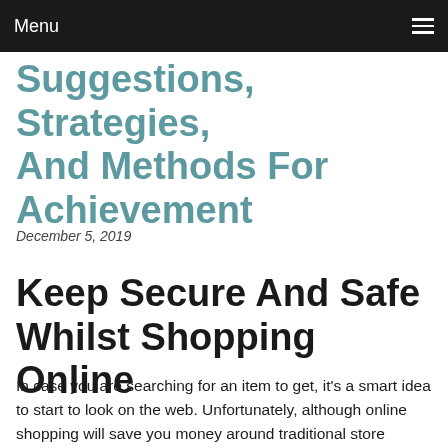Menu
Suggestions, Strategies, And Methods For Achievement
December 5, 2019
Keep Secure And Safe Whilst Shopping Online
In case you are searching for an item to get, it's a smart idea to start to look on the web. Unfortunately, although online shopping will save you money around traditional store shopping, you must be mindful of important ideas. Usually, you will simply spen...